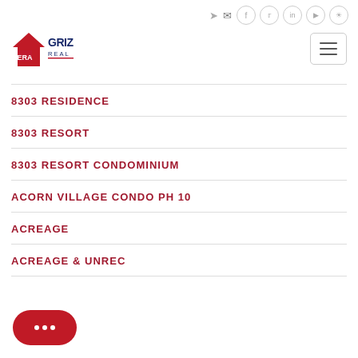[Figure (logo): ERA Grizzard Real Estate logo with house icon]
8303 RESIDENCE
8303 RESORT
8303 RESORT CONDOMINIUM
ACORN VILLAGE CONDO PH 10
ACREAGE
ACREAGE & UNREC